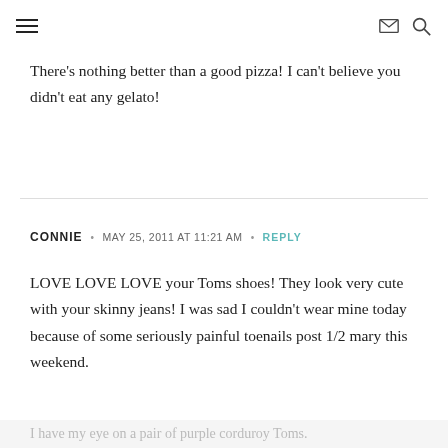≡  ✉ 🔍
There's nothing better than a good pizza! I can't believe you didn't eat any gelato!
CONNIE · MAY 25, 2011 AT 11:21 AM · REPLY
LOVE LOVE LOVE your Toms shoes! They look very cute with your skinny jeans! I was sad I couldn't wear mine today because of some seriously painful toenails post 1/2 mary this weekend.
I have my eye on a pair of purple corduroy Toms.